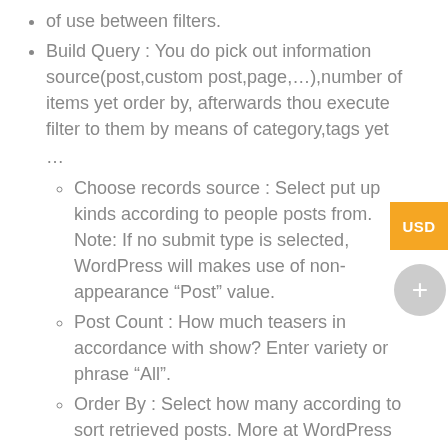of use between filters.
Build Query : You do pick out information source(post,custom post,page,…),number of items yet order by, afterwards thou execute filter to them by means of category,tags yet
…
Choose records source : Select put up kinds according to people posts from. Note: If no submit type is selected, WordPress will makes use of non-appearance “Post” value.
Post Count : How much teasers in accordance with show? Enter variety or phrase “All”.
Order By : Select how many according to sort retrieved posts. More at WordPress codex page